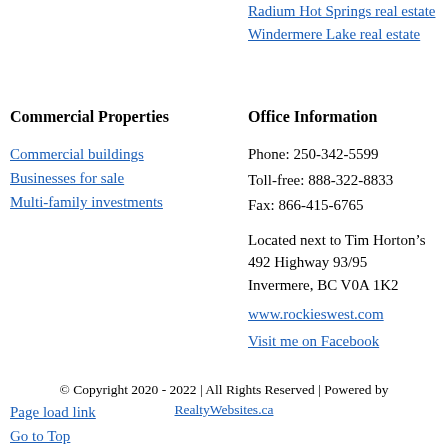Radium Hot Springs real estate
Windermere Lake real estate
Commercial Properties
Office Information
Commercial buildings
Businesses for sale
Multi-family investments
Phone: 250-342-5599
Toll-free: 888-322-8833
Fax: 866-415-6765
Located next to Tim Horton’s
492 Highway 93/95
Invermere, BC V0A 1K2
www.rockieswest.com
Visit me on Facebook
© Copyright 2020 - 2022 | All Rights Reserved | Powered by RealtyWebsites.ca
Page load link
Go to Top